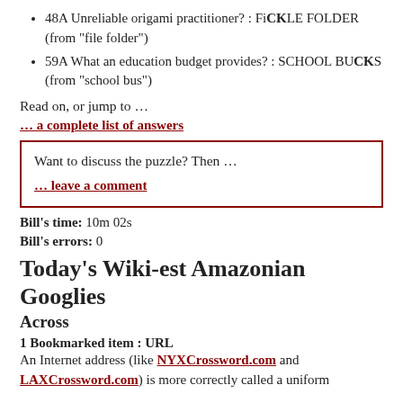48A Unreliable origami practitioner? : FiCKLE FOLDER (from "file folder")
59A What an education budget provides? : SCHOOL BuCKS (from "school bus")
Read on, or jump to …
… a complete list of answers
Want to discuss the puzzle? Then …
… leave a comment
Bill's time: 10m 02s
Bill's errors: 0
Today's Wiki-est Amazonian Googlies
Across
1 Bookmarked item : URL
An Internet address (like NYXCrossword.com and LAXCrossword.com) is more correctly called a uniform